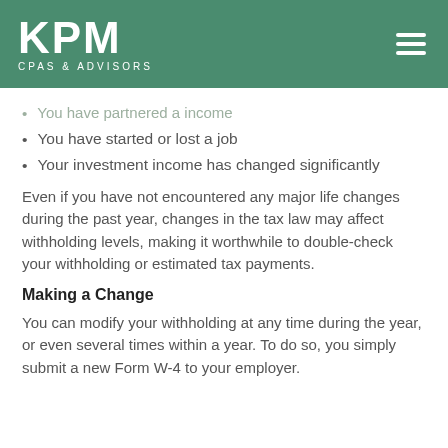KPM CPAS & ADVISORS
You have partnered a income
You have started or lost a job
Your investment income has changed significantly
Even if you have not encountered any major life changes during the past year, changes in the tax law may affect withholding levels, making it worthwhile to double-check your withholding or estimated tax payments.
Making a Change
You can modify your withholding at any time during the year, or even several times within a year. To do so, you simply submit a new Form W-4 to your employer. Simply providing it to your employer...